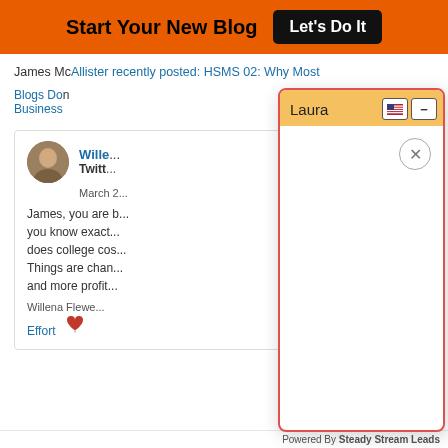Start Your New Blog  Let's Do It
James McAllister recently posted: HSMS 02: Why Most Blogs Don... Business
[Figure (screenshot): A chat/contact dialog popup with orange header labeled 'Laura', containing a US flag icon button and a minus button, and a close (X) button in the body. The dialog has a white empty body area with a red border.]
Willena
Twitt...
March 2...
James, you are b... you know exact... does college cos... Things are chan... and more profit...
Willena Flewe...
Effort
Powered By Steady Stream Leads